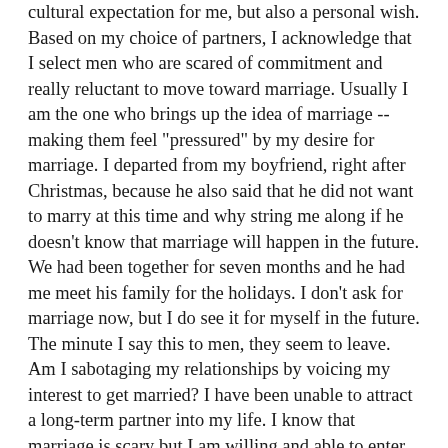cultural expectation for me, but also a personal wish. Based on my choice of partners, I acknowledge that I select men who are scared of commitment and really reluctant to move toward marriage. Usually I am the one who brings up the idea of marriage -- making them feel "pressured" by my desire for marriage. I departed from my boyfriend, right after Christmas, because he also said that he did not want to marry at this time and why string me along if he doesn't know that marriage will happen in the future. We had been together for seven months and he had me meet his family for the holidays. I don't ask for marriage now, but I do see it for myself in the future. The minute I say this to men, they seem to leave. Am I sabotaging my relationships by voicing my interest to get married? I have been unable to attract a long-term partner into my life. I know that marriage is scary but I am willing and able to enter into a committed relationship, regardless of fear and any insecurities I might have -- but I don't meet men who want to go in that direction with me. What must I do? If I am setting myself up for disappointment, then I need to figure out how to stop that. I really want to be committedto someone who wants to settle down. I really don't want to enter another relationship that leads to "just being friends" --What must I do, think or adjust in order to invite a partner into my life?
Dear Still Single:
You ask "Am I sabotaging my relationships by voicing my